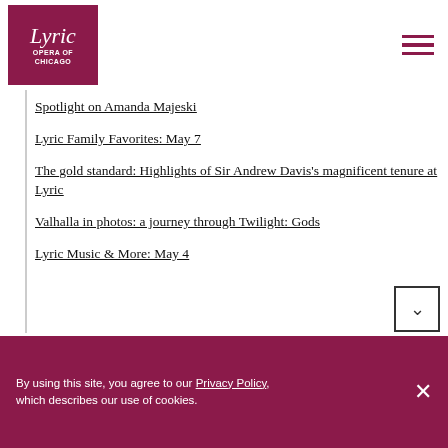[Figure (logo): Lyric Opera of Chicago logo — dark magenta/maroon square with italic 'Lyric' text and 'OPERA OF CHICAGO' below in caps]
Spotlight on Amanda Majeski
Lyric Family Favorites: May 7
The gold standard: Highlights of Sir Andrew Davis's magnificent tenure at Lyric
Valhalla in photos: a journey through Twilight: Gods
Lyric Music & More: May 4
By using this site, you agree to our Privacy Policy, which describes our use of cookies.